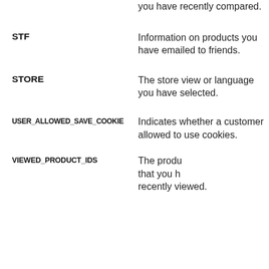| Cookie Name | Description |
| --- | --- |
|  | you have recently compared. |
| STF | Information on products you have emailed to friends. |
| STORE | The store view or language you have selected. |
| USER_ALLOWED_SAVE_COOKIE | Indicates whether a customer allowed to use cookies. |
| VIEWED_PRODUCT_IDS | The products that you have recently viewed. |